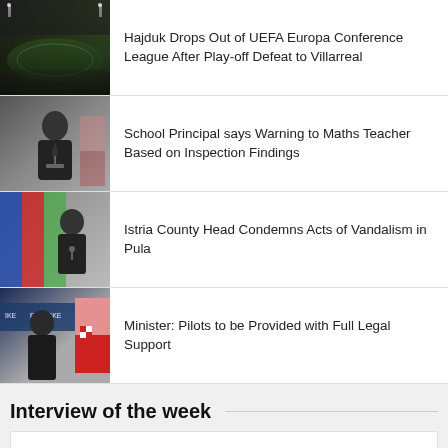[Figure (photo): Stadium aerial view photo thumbnail]
Hajduk Drops Out of UEFA Europa Conference League After Play-off Defeat to Villarreal
[Figure (photo): Person at podium photo thumbnail]
School Principal says Warning to Maths Teacher Based on Inspection Findings
[Figure (photo): Person at podium with flags photo thumbnail]
Istria County Head Condemns Acts of Vandalism in Pula
[Figure (photo): Minister at podium with Croatian flag photo thumbnail]
Minister: Pilots to be Provided with Full Legal Support
Interview of the week